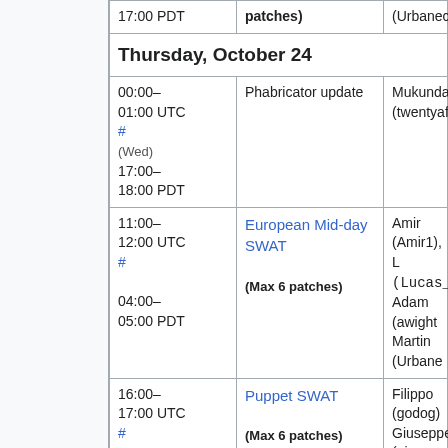| Time | Event | People |
| --- | --- | --- |
| 17:00 PDT | patches) | (Urbanecm) |
| Thursday, October 24 |  |  |
| 00:00–01:00 UTC
#
(Wed)
17:00–18:00 PDT | Phabricator update | Mukunda (twentyafter |
| 11:00–12:00 UTC
#
04:00–05:00 PDT | European Mid-day SWAT
(Max 6 patches) | Amir (Amir1), L
(Lucas_WMDE)
Adam (awight
Martin (Urbane |
| 16:00–17:00 UTC
#
09:00–10:00 PDT | Puppet SWAT
(Max 6 patches) | Filippo (godog)
Giuseppe (_jo |